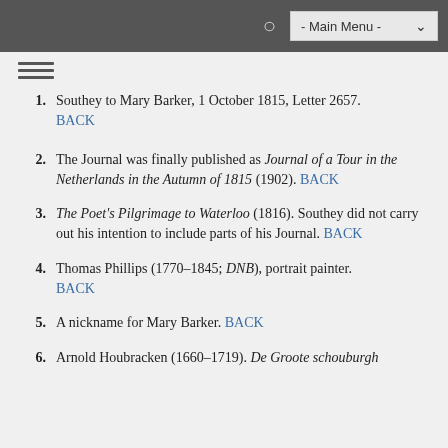- Main Menu -
Southey to Mary Barker, 1 October 1815, Letter 2657. BACK
The Journal was finally published as Journal of a Tour in the Netherlands in the Autumn of 1815 (1902). BACK
The Poet's Pilgrimage to Waterloo (1816). Southey did not carry out his intention to include parts of his Journal. BACK
Thomas Phillips (1770–1845; DNB), portrait painter. BACK
A nickname for Mary Barker. BACK
Arnold Houbracken (1660–1719). De Groote schouburgh